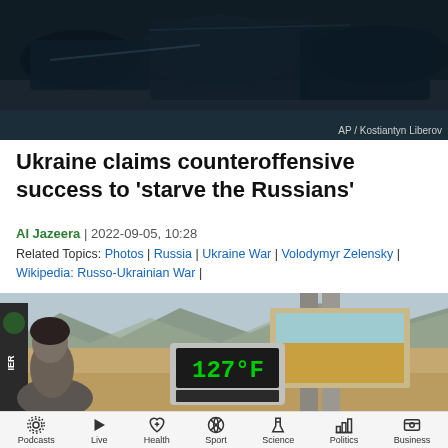[Figure (photo): War scene, dark military equipment, soldiers at night or low light]
AP / Kostiantyn Liberov
Ukraine claims counteroffensive success to ‘starve the Russians’
Al Jazeera | 2022-09-05, 10:28
Related Topics: Photos | Russia | Ukraine War | Volodymyr Zelensky | Wikipedia: Russo-Ukrainian War |
[Figure (photo): Person in desert landscape with large outdoor thermometer showing 127°F, mountains in background]
Podcasts | Live | Health | Sport | Science | Politics | Business